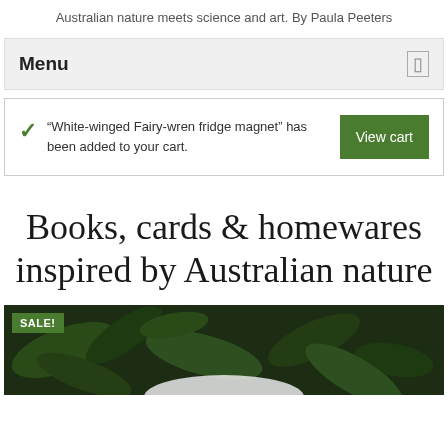Australian nature meets science and art. By Paula Peeters
Menu
“White-winged Fairy-wren fridge magnet” has been added to your cart.
Books, cards & homewares inspired by Australian nature
[Figure (photo): Product photo with dark green leafy background and a white ceramic item partially visible, with a green SALE! badge in the top-left corner.]